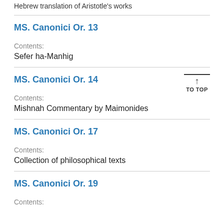Hebrew translation of Aristotle's works
MS. Canonici Or. 13
Contents:
Sefer ha-Manhig
MS. Canonici Or. 14
Contents:
Mishnah Commentary by Maimonides
MS. Canonici Or. 17
Contents:
Collection of philosophical texts
MS. Canonici Or. 19
Contents: